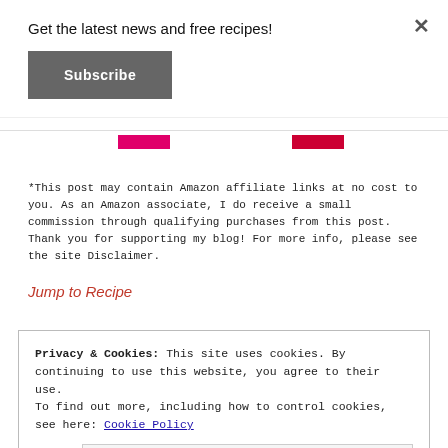Get the latest news and free recipes!
Subscribe
×
[Figure (other): Partial image showing two pink/red rectangular bars at the content boundary]
*This post may contain Amazon affiliate links at no cost to you. As an Amazon associate, I do receive a small commission through qualifying purchases from this post. Thank you for supporting my blog! For more info, please see the site Disclaimer.
Jump to Recipe
Privacy & Cookies: This site uses cookies. By continuing to use this website, you agree to their use.
To find out more, including how to control cookies, see here: Cookie Policy
Close and accept